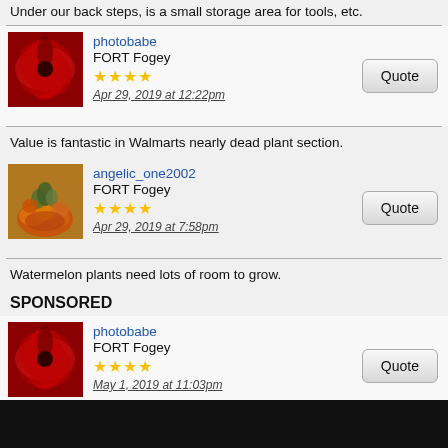Under our back steps, is a small storage area for tools, etc.
photobabe
FORT Fogey
★★★★
Apr 29, 2019 at 12:22pm
Value is fantastic in Walmarts nearly dead plant section.
angelic_one2002
FORT Fogey
★★★★
Apr 29, 2019 at 7:58pm
Watermelon plants need lots of room to grow.
SPONSORED
photobabe
FORT Fogey
★★★★
May 1, 2019 at 11:03pm
X is a difficult letter so I have decided to skip it. :lol: